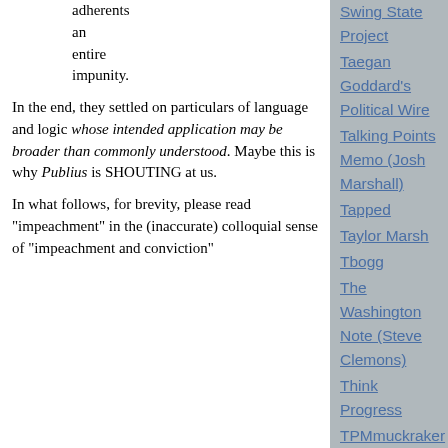adherents an entire impunity.
In the end, they settled on particulars of language and logic whose intended application may be broader than commonly understood. Maybe this is why Publius is SHOUTING at us.
In what follows, for brevity, please read "impeachment" in the (inaccurate) colloquial sense of "impeachment and conviction"
Swing State Project
Taegan Goddard's Political Wire
Talking Points Memo (Josh Marshall)
Tapped
Taylor Marsh
Tbogg
The Washington Note (Steve Clemons)
Think Progress
TPMmuckraker
Unclaimed Territory (Glenn Greenwald)
War and Piece (Laura Rozen)
Working Life (Jonathan Tasini)
Blog powered by Typepad